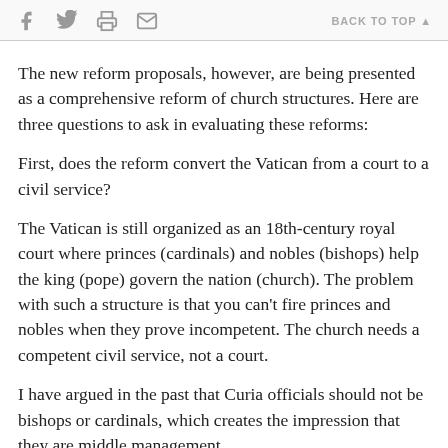f [twitter] [print] [email]   BACK TO TOP ▲
The new reform proposals, however, are being presented as a comprehensive reform of church structures. Here are three questions to ask in evaluating these reforms:
First, does the reform convert the Vatican from a court to a civil service?
The Vatican is still organized as an 18th-century royal court where princes (cardinals) and nobles (bishops) help the king (pope) govern the nation (church). The problem with such a structure is that you can't fire princes and nobles when they prove incompetent. The church needs a competent civil service, not a court.
I have argued in the past that Curia officials should not be bishops or cardinals, which creates the impression that they are middle management